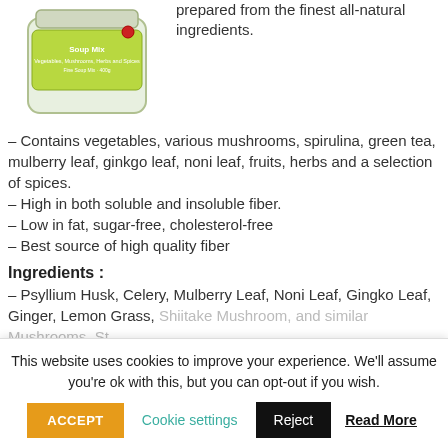[Figure (photo): Product jar with green label containing soup mix]
prepared from the finest all-natural ingredients.
– Contains vegetables, various mushrooms, spirulina, green tea, mulberry leaf, ginkgo leaf, noni leaf, fruits, herbs and a selection of spices.
– High in both soluble and insoluble fiber.
– Low in fat, sugar-free, cholesterol-free
– Best source of high quality fiber
Ingredients :
– Psyllium Husk, Celery, Mulberry Leaf, Noni Leaf, Gingko Leaf, Ginger, Lemon Grass, Shiitake Mushroom, and similar Mushrooms, St...
This website uses cookies to improve your experience. We'll assume you're ok with this, but you can opt-out if you wish.